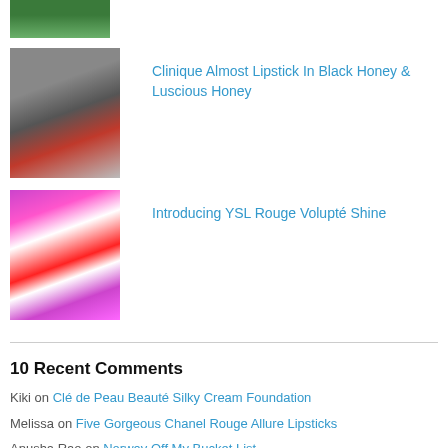[Figure (photo): Partial top image, appears to be a house or building with green foliage]
[Figure (photo): Lipstick product photo showing two lipstick tubes with red tips]
Clinique Almost Lipstick In Black Honey & Luscious Honey
[Figure (photo): Colorful smears of lipstick in purple, red, and pink shades]
Introducing YSL Rouge Volupté Shine
10 Recent Comments
Kiki on Clé de Peau Beauté Silky Cream Foundation
Melissa on Five Gorgeous Chanel Rouge Allure Lipsticks
Anusha Rao on Norway Off My Bucket List
S U S A N on Sulwhasoo Skin Clarifying Mask
grace on 14-Days Challenge To Flawless Skin With Lancôme Visionnaire